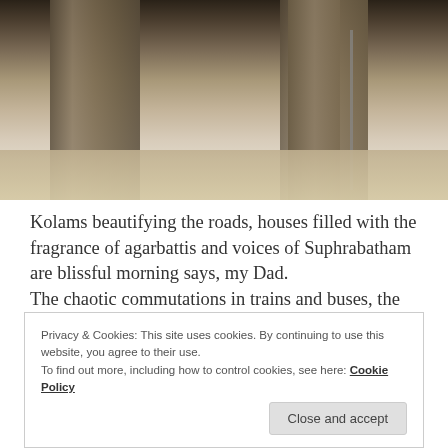[Figure (photo): Sepia-toned black and white photograph of stone pillars or columns of a temple or historic building, with ground visible at the bottom and a rope or cable on the right side.]
Kolams beautifying the roads, houses filled with the fragrance of agarbattis and voices of Suphrabatham are blissful morning says, my Dad.
The chaotic commutations in trains and buses, the tart mango, guava sold with salt and chilli leaving us with watered mouths, busy roads with glaring horns and quarrels, full-meals in hotels and an extra cup of
Privacy & Cookies: This site uses cookies. By continuing to use this website, you agree to their use.
To find out more, including how to control cookies, see here: Cookie Policy
Close and accept